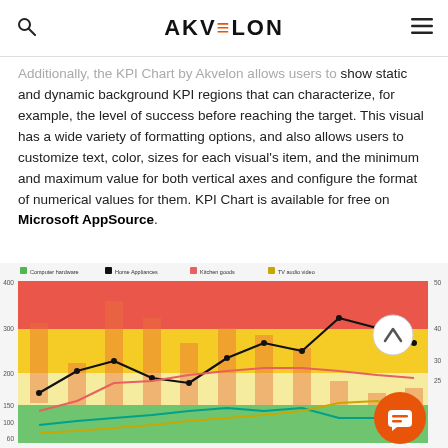AKVELON
Additionally, the KPI Chart by Akvelon allows users to show static and dynamic background KPI regions that can characterize, for example, the level of success before reaching the target. This visual has a wide variety of formatting options, and also allows users to customize text, color, sizes for each visual's item, and the minimum and maximum value for both vertical axes and configure the format of numerical values for them. KPI Chart is available for free on Microsoft AppSource.
[Figure (line-chart): KPI Chart screenshot showing multiple line series (Computer hardware, Home Appliances, Kitchen goods, TV audio video) overlaid on colored background KPI regions (green, yellow, orange, red) with bar chart underneath. Lines show trends over time with y-axis values from approximately 40 to 400 on left and 0 to 50 on right.]